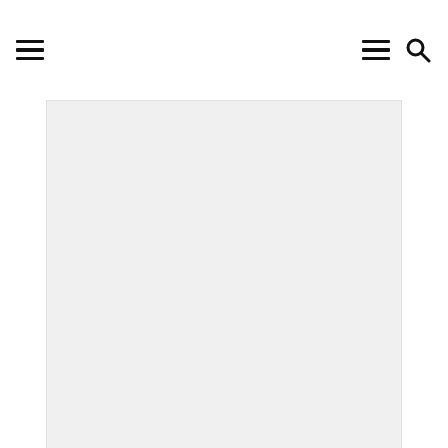≡  ≡ 🔍
[Figure (photo): Large light gray rectangular image placeholder area]
Based on a potential observational examine introduced by the Fatty Acid Analysis Institute, people having the next blood stage of DHA omega-3 fatty acids are 49% much less more